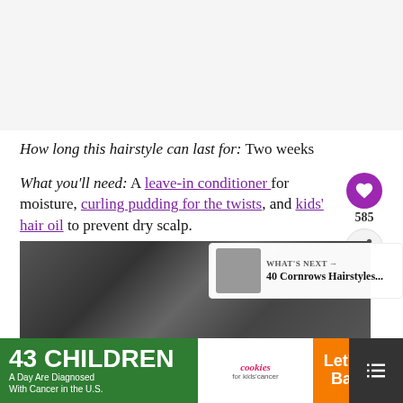[Figure (photo): Top portion of page showing a placeholder image area (white/light gray background)]
How long this hairstyle can last for: Two weeks
What you'll need: A leave-in conditioner for moisture, curling pudding for the twists, and kids' hair oil to prevent dry scalp.
[Figure (photo): Photo of cornrow braids hairstyle on a person, split view showing two angles. Overlaid with a 'WHAT'S NEXT' widget showing '40 Cornrows Hairstyles...']
[Figure (infographic): Advertisement banner: '43 CHILDREN A Day Are Diagnosed With Cancer in the U.S.' with cookies for kids cancer logo and 'Let's Get Baking' text]